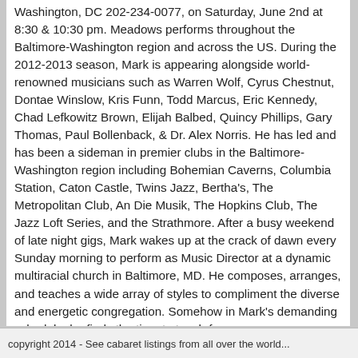Washington, DC 202-234-0077, on Saturday, June 2nd at 8:30 & 10:30 pm. Meadows performs throughout the Baltimore-Washington region and across the US. During the 2012-2013 season, Mark is appearing alongside world-renowned musicians such as Warren Wolf, Cyrus Chestnut, Dontae Winslow, Kris Funn, Todd Marcus, Eric Kennedy, Chad Lefkowitz Brown, Elijah Balbed, Quincy Phillips, Gary Thomas, Paul Bollenback, & Dr. Alex Norris. He has led and has been a sideman in premier clubs in the Baltimore-Washington region including Bohemian Caverns, Columbia Station, Caton Castle, Twins Jazz, Bertha's, The Metropolitan Club, An Die Musik, The Hopkins Club, The Jazz Loft Series, and the Strathmore. After a busy weekend of late night gigs, Mark wakes up at the crack of dawn every Sunday morning to perform as Music Director at a dynamic multiracial church in Baltimore, MD. He composes, arranges, and teaches a wide array of styles to compliment the diverse and energetic congregation. Somehow in Mark's demanding schedule, he finds the time to teach four courses as an adjunct instructor at the Duke Ellington School of the Arts in Washington, DC. There is an $18 cover.
copyright 2014 - See cabaret listings from all over the world...